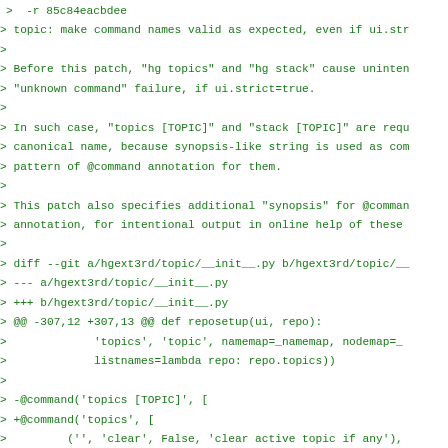>  -r 85c84eacbdee
> topic: make command names valid as expected, even if ui.str
>
> Before this patch, "hg topics" and "hg stack" cause uninten
> "unknown command" failure, if ui.strict=true.
>
> In such case, "topics [TOPIC]" and "stack [TOPIC]" are requ
> canonical name, because synopsis-like string is used as com
> pattern of @command annotation for them.
>
> This patch also specifies additional "synopsis" for @comman
> annotation, for intentional output in online help of these
>
> diff --git a/hgext3rd/topic/__init__.py b/hgext3rd/topic/_
> --- a/hgext3rd/topic/__init__.py
> +++ b/hgext3rd/topic/__init__.py
> @@ -307,12 +307,13 @@ def reposetup(ui, repo):
>             'topics', 'topic', namemap=_namemap, nodemap=_
>             listnames=lambda repo: repo.topics))
>
> -@command('topics [TOPIC]', [
> +@command('topics', [
>         ('', 'clear', False, 'clear active topic if any'),
>         ('r', 'rev', '', 'revset of existing revisions', _
>         ('l', 'list', False, 'show the stack of changeset
>  topic'),
>         ('', 'age', False, 'show when you last touched the
> -    ] + commands.formatteropts)
> +    ] + commands.formatteropts,
> +    _('hg topics [TOPIC]'))
>  def topics(ui, repo, topic='', clear=False, rev=None, list
>  **opts):